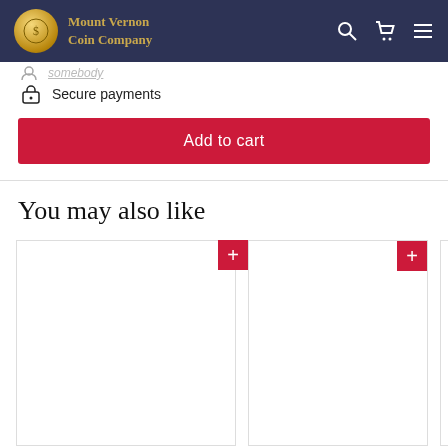Mount Vernon Coin Company
Secure payments
Add to cart
You may also like
[Figure (other): Two product card placeholders with red add-to-cart plus buttons in top-right corners]
[Figure (other): Second product card partially visible at right edge]